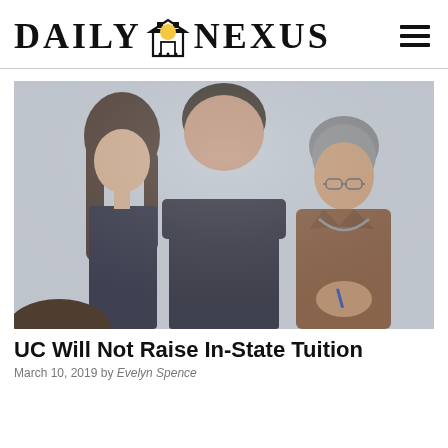DAILY NEXUS
[Figure (photo): Three people in conversation: a young woman with long wavy hair in a dark jacket on the left, a man with dark hair in a dark suit in the center facing away from camera, and an older woman with short gray hair, glasses, and a brown leather jacket on the right. They appear to be in a meeting or event setting.]
UC Will Not Raise In-State Tuition
March 10, 2019 by Evelyn Spence